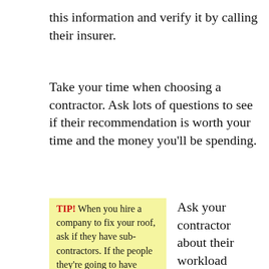this information and verify it by calling their insurer.
Take your time when choosing a contractor. Ask lots of questions to see if their recommendation is worth your time and the money you’ll be spending.
TIP! When you hire a company to fix your roof, ask if they have sub-contractors. If the people they’re going to have doing the work on the roof aren’t employed by
Ask your contractor about their workload they’re currently dealing with. Find out how many employees within the company. Companies with lots of current projects and minimal employees could